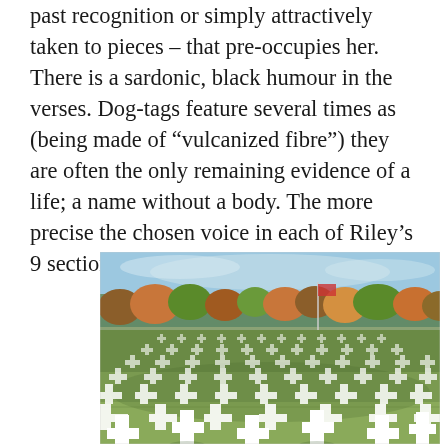past recognition or simply attractively taken to pieces – that pre-occupies her. There is a sardonic, black humour in the verses. Dog-tags feature several times as (being made of "vulcanized fibre") they are often the only remaining evidence of a life; a name without a body. The more precise the chosen voice in each of Riley's 9 sections, the more successful the poem.
[Figure (photo): Aerial-perspective photograph of a military cemetery with long rows of white crosses extending into the distance on a green lawn, with autumn trees and a blue sky in the background.]